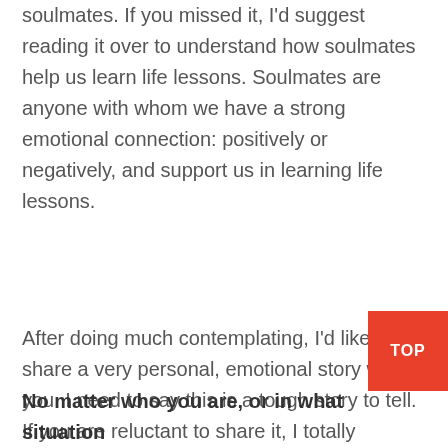soulmates. If you missed it, I'd suggest reading it over to understand how soulmates help us learn life lessons. Soulmates are anyone with whom we have a strong emotional connection: positively or negatively, and support us in learning life lessons.
After doing much contemplating, I'd like to share a very personal, emotional story with you. I need to say this is a tough story to tell. If you are reluctant to share it, I totally understand. The reason I'm willing to be vulnerable is because the ultimate lessons I learned (and continue learning) may be of value to you. These lessons – in claiming one's own independence and power… and recognizing that love is eternal... came to me through one of the most beloved people in my life: my mother.
No matter who you are, or in what situation you face, I want to assure you are...